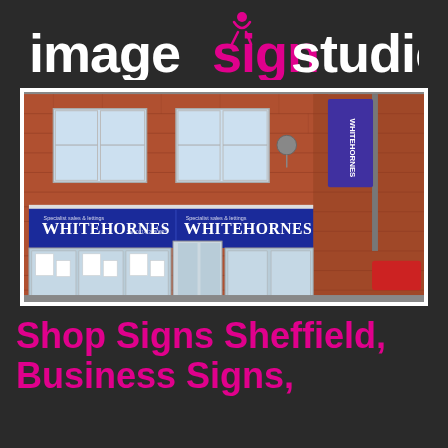[Figure (logo): Image Sign Studio logo — 'image' in white, 'sign' in pink with a stylized figure icon above the 'i', 'studio' in white, on dark background]
[Figure (photo): Photograph of a brick building storefront with blue fascia signs reading 'WHITEHORNES' on both panels, and purple banner signs on the right side pole]
Shop Signs Sheffield, Business Signs,